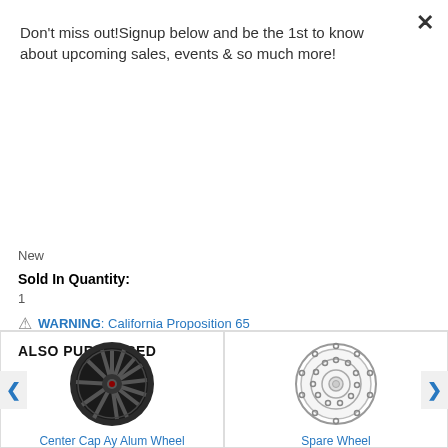Don't miss out!Signup below and be the 1st to know about upcoming sales, events & so much more!
Subscribe
New
Sold In Quantity:
1
WARNING: California Proposition 65
ALSO PURCHASED
[Figure (photo): Dark multi-spoke alloy wheel (Center Cap Ay Alum Wheel)]
Center Cap Ay Alum Wheel
[Figure (illustration): Line drawing of a spare wheel / steel wheel with bolt holes]
Spare Wheel